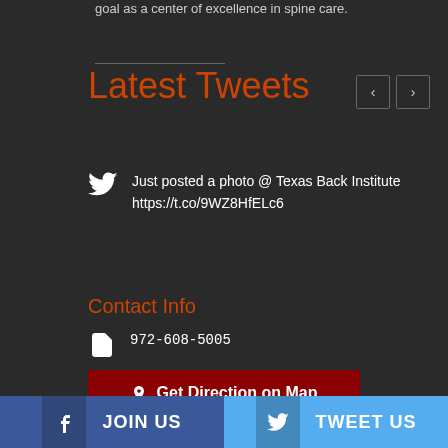goal as a center of excellence in spine care.
Latest Tweets
Just posted a photo @ Texas Back Institute https://t.co/9WZ8HfELc6
Contact Info
972-608-5005
info@texasback.com
6020 West Parker Rd Suite 200 Plano, Texas 75093
Get Direction on Map
JOIN US
TWEET US